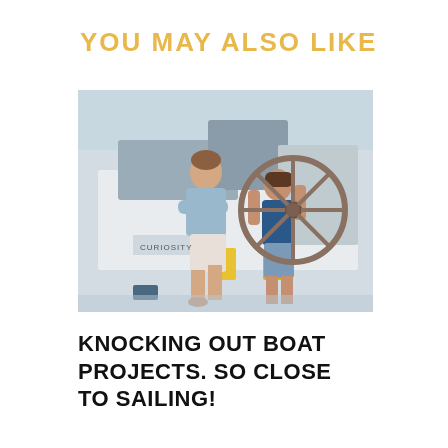YOU MAY ALSO LIKE
[Figure (photo): A man and woman standing on a sailboat in a marina. The man has his arms crossed wearing a light blue t-shirt and white shorts. The woman is holding a large boat steering wheel, wearing a dark blue sleeveless top and denim shorts. The boat name 'CURIOSITY' is visible in the background.]
KNOCKING OUT BOAT PROJECTS. SO CLOSE TO SAILING!